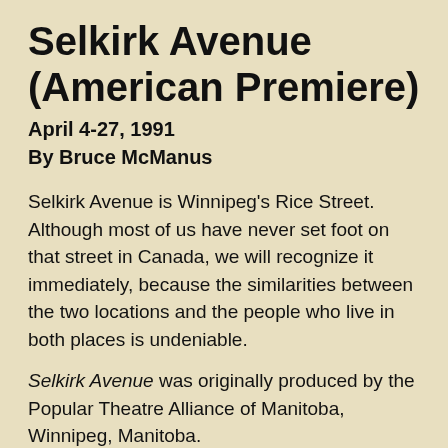Selkirk Avenue (American Premiere)
April 4-27, 1991
By Bruce McManus
Selkirk Avenue is Winnipeg’s Rice Street. Although most of us have never set foot on that street in Canada, we will recognize it immediately, because the similarities between the two locations and the people who live in both places is undeniable.
Selkirk Avenue was originally produced by the Popular Theatre Alliance of Manitoba, Winnipeg, Manitoba.
Cast